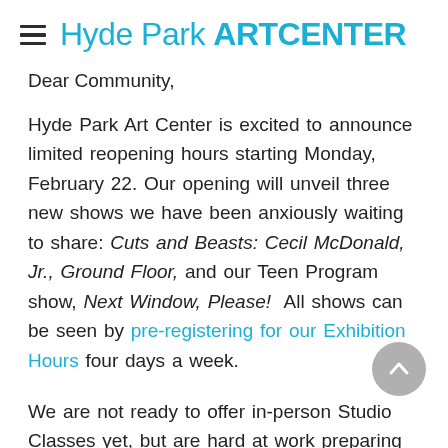Hyde Park ART CENTER
Dear Community,
Hyde Park Art Center is excited to announce limited reopening hours starting Monday, February 22. Our opening will unveil three new shows we have been anxiously waiting to share: Cuts and Beasts: Cecil McDonald, Jr., Ground Floor, and our Teen Program show, Next Window, Please!  All shows can be seen by pre-registering for our Exhibition Hours four days a week.
We are not ready to offer in-person Studio Classes yet, but are hard at work preparing the studios for